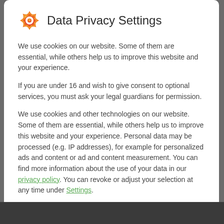Data Privacy Settings
We use cookies on our website. Some of them are essential, while others help us to improve this website and your experience.
If you are under 16 and wish to give consent to optional services, you must ask your legal guardians for permission.
We use cookies and other technologies on our website. Some of them are essential, while others help us to improve this website and your experience. Personal data may be processed (e.g. IP addresses), for example for personalized ads and content or ad and content measurement. You can find more information about the use of your data in our privacy policy. You can revoke or adjust your selection at any time under Settings.
Essential (checked)
Statistics (unchecked)
External Media (unchecked)